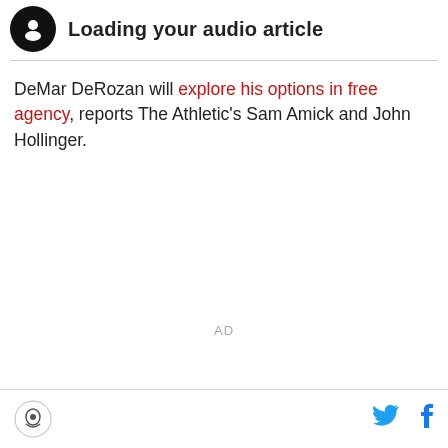[Figure (other): Audio article player bar with circular black icon and bold text 'Loading your audio article']
DeMar DeRozan will explore his options in free agency, reports The Athletic's Sam Amick and John Hollinger.
[Figure (other): AD placeholder area]
Footer with site logo, Twitter icon, and Facebook icon